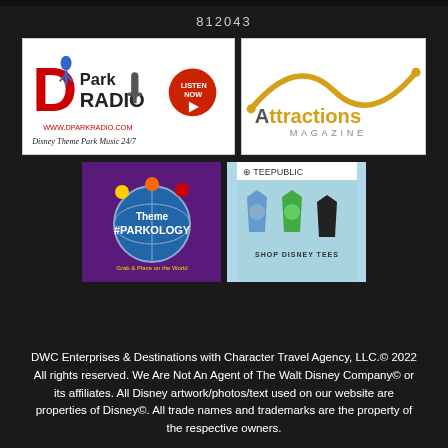812043
[Figure (logo): D Park Radio logo - Disney Theme Park Music 24/7 with Listen Now button]
[Figure (logo): Attractions Magazine logo with roller coaster design]
[Figure (logo): Theme Parkology logo with globe and character figures]
[Figure (logo): TeePublic - Shop Disney Tees showing t-shirts]
DWC Enterprises & Destinations with Character Travel Agency, LLC.© 2022 All rights reserved. We Are Not An Agent of The Walt Disney Company© or its affiliates. All Disney artwork/photos/text used on our website are properties of Disney©. All trade names and trademarks are the property of the respective owners.